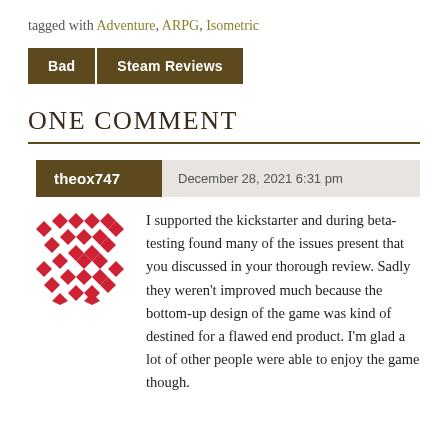tagged with Adventure, ARPG, Isometric
Bad | Steam Reviews
ONE COMMENT
theox747   December 28, 2021 6:31 pm
[Figure (illustration): Avatar icon with red diamond/cross pattern on white background]
I supported the kickstarter and during beta-testing found many of the issues present that you discussed in your thorough review. Sadly they weren't improved much because the bottom-up design of the game was kind of destined for a flawed end product. I'm glad a lot of other people were able to enjoy the game though.